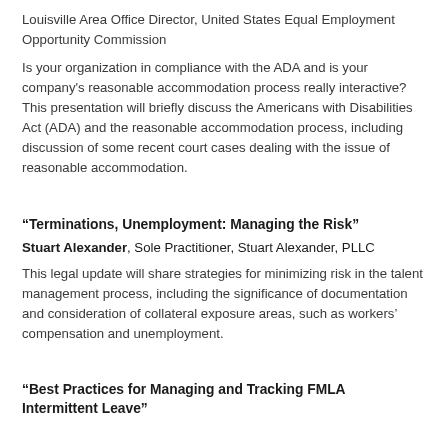Louisville Area Office Director, United States Equal Employment Opportunity Commission
Is your organization in compliance with the ADA and is your company's reasonable accommodation process really interactive? This presentation will briefly discuss the Americans with Disabilities Act (ADA) and the reasonable accommodation process, including discussion of some recent court cases dealing with the issue of reasonable accommodation.
“Terminations, Unemployment: Managing the Risk”
Stuart Alexander, Sole Practitioner, Stuart Alexander, PLLC
This legal update will share strategies for minimizing risk in the talent management process, including the significance of documentation and consideration of collateral exposure areas, such as workers’ compensation and unemployment.
“Best Practices for Managing and Tracking FMLA Intermittent Leave”